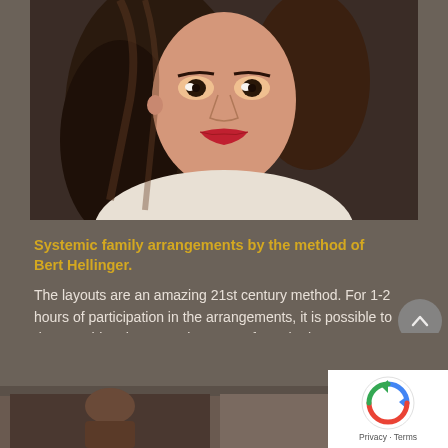[Figure (photo): Portrait photo of a woman with long dark hair, red lipstick, wearing a white top, dark background]
Systemic family arrangements by the method of Bert Hellinger.
The layouts are an amazing 21st century method. For 1-2 hours of participation in the arrangements, it is possible to do something that can take years of psychotherapy, you can live the experience of several…
[Figure (photo): Partial view of another card/photo at the bottom of the page]